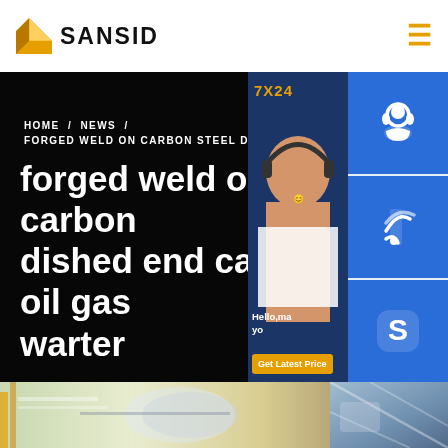[Figure (logo): SANSID company logo with orange diamond/building icon and bold text SANSID]
≡
[Figure (screenshot): Hero section with dark background, customer support representative photo on right side with 7X24 label, three blue icon buttons (headset, phone, Skype), Hello message bubble and Get Latest Price button]
HOME / NEWS / FORGED WELD ON CARBON STEEL DISHED GAS WARTER
forged weld on carbon dished end cap for oil gas warter
[Figure (photo): Bottom strip showing industrial/factory images of steel dished end caps or similar metal components]